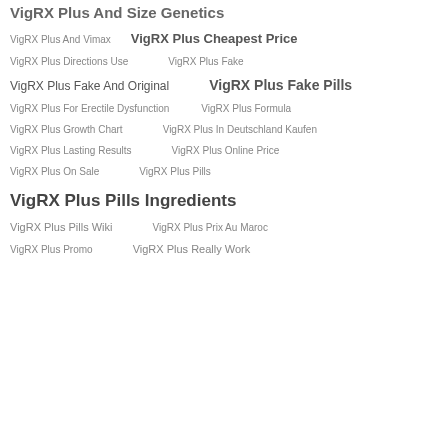VigRX Plus And Size Genetics
VigRX Plus And Vimax
VigRX Plus Cheapest Price
VigRX Plus Directions Use
VigRX Plus Fake
VigRX Plus Fake And Original
VigRX Plus Fake Pills
VigRX Plus For Erectile Dysfunction
VigRX Plus Formula
VigRX Plus Growth Chart
VigRX Plus In Deutschland Kaufen
VigRX Plus Lasting Results
VigRX Plus Online Price
VigRX Plus On Sale
VigRX Plus Pills
VigRX Plus Pills Ingredients
VigRX Plus Pills Wiki
VigRX Plus Prix Au Maroc
VigRX Plus Promo
VigRX Plus Really Work